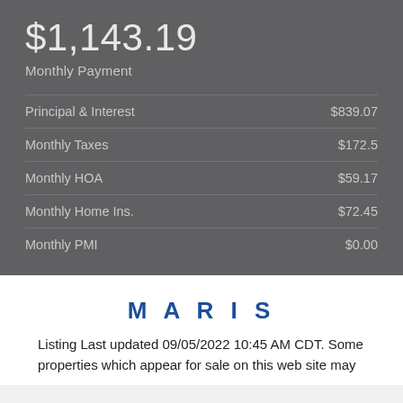$1,143.19
Monthly Payment
|  |  |
| --- | --- |
| Principal & Interest | $839.07 |
| Monthly Taxes | $172.5 |
| Monthly HOA | $59.17 |
| Monthly Home Ins. | $72.45 |
| Monthly PMI | $0.00 |
[Figure (logo): MARIS real estate logo in bold blue uppercase letters with wide letter spacing]
Listing Last updated 09/05/2022 10:45 AM CDT. Some properties which appear for sale on this web site may